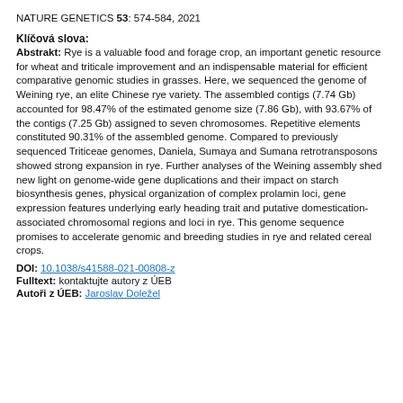NATURE GENETICS 53: 574-584, 2021
Klíčová slova:
Abstrakt: Rye is a valuable food and forage crop, an important genetic resource for wheat and triticale improvement and an indispensable material for efficient comparative genomic studies in grasses. Here, we sequenced the genome of Weining rye, an elite Chinese rye variety. The assembled contigs (7.74 Gb) accounted for 98.47% of the estimated genome size (7.86 Gb), with 93.67% of the contigs (7.25 Gb) assigned to seven chromosomes. Repetitive elements constituted 90.31% of the assembled genome. Compared to previously sequenced Triticeae genomes, Daniela, Sumaya and Sumana retrotransposons showed strong expansion in rye. Further analyses of the Weining assembly shed new light on genome-wide gene duplications and their impact on starch biosynthesis genes, physical organization of complex prolamin loci, gene expression features underlying early heading trait and putative domestication-associated chromosomal regions and loci in rye. This genome sequence promises to accelerate genomic and breeding studies in rye and related cereal crops.
DOI: 10.1038/s41588-021-00808-z
Fulltext: kontaktujte autory z ÚEB
Autoři z ÚEB: Jaroslav Doležel